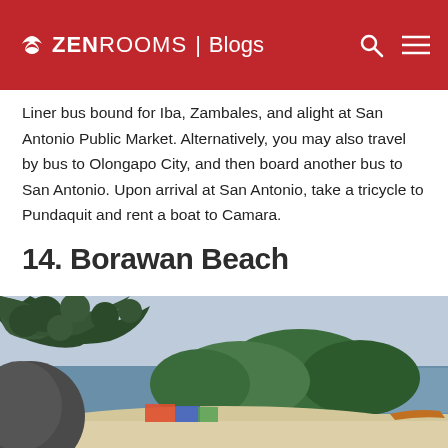ZEN ROOMS | Blogs
Liner bus bound for Iba, Zambales, and alight at San Antonio Public Market. Alternatively, you may also travel by bus to Olongapo City, and then board another bus to San Antonio. Upon arrival at San Antonio, take a tricycle to Pundaquit and rent a boat to Camara.
14. Borawan Beach
[Figure (photo): Photo of Borawan Beach showing white sand, tree branches overhead, water and green forested hills in background under cloudy sky]